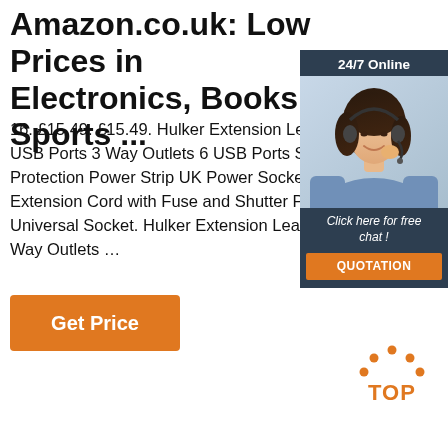Amazon.co.uk: Low Prices in Electronics, Books, Sports ...
16. £15.49. £15.49. Hulker Extension Lead with USB Ports 3 Way Outlets 6 USB Ports S Protection Power Strip UK Power Socke Extension Cord with Fuse and Shutter P Universal Socket. Hulker Extension Lea Ports 3 Way Outlets …
[Figure (screenshot): Orange 'Get Price' button]
[Figure (screenshot): 24/7 Online chat widget with photo of woman wearing headset, 'Click here for free chat!' text, and orange QUOTATION button]
[Figure (other): Orange dotted arch TOP button in bottom right corner]